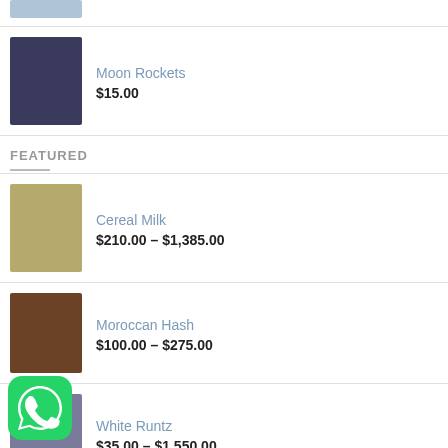[Figure (photo): Partial product image at top of page (Moon Rockets packaging cropped)]
Moon Rockets
$15.00
FEATURED
Cereal Milk
$210.00 – $1,385.00
Moroccan Hash
$100.00 – $275.00
White Runtz
$35.00 – $1,550.00
White Widow
[Figure (logo): WhatsApp icon (green circle with phone handset)]